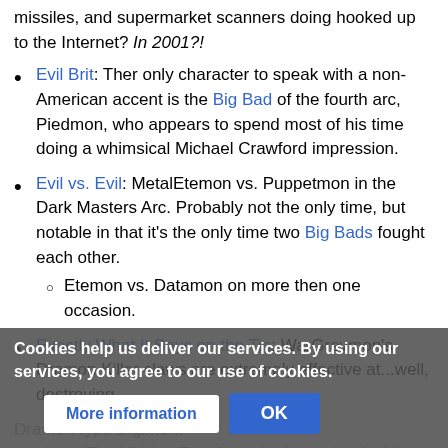missiles, and supermarket scanners doing hooked up to the Internet? In 2001?!
Evil Brit: Ther only character to speak with a non-American accent is the Big Bad of the fourth arc, Piedmon, who appears to spend most of his time doing a whimsical Michael Crawford impression.
Evil vs. Evil: MetalEtemon vs. Puppetmon in the Dark Masters Arc. Probably not the only time, but notable in that it's the only time two Big Bads fought each other.
Etemon vs. Datamon on more then one occasion.
Exactly What It Says on the Tin: WarGreymon's Dramon Killer claws are extremely effective at...well, destroying
Dramon type Digimon.
Cookies help us deliver our services. By using our services, you agree to our use of cookies.
Eyecatch: Mildly spoilerific for the first arc